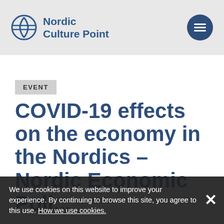Nordic Culture Point
EVENT
COVID-19 effects on the economy in the Nordics – Nordic Economic Policy Review 2020
We use cookies on this website to improve your experience. By continuing to browse this site, you agree to this use. How we use cookies.